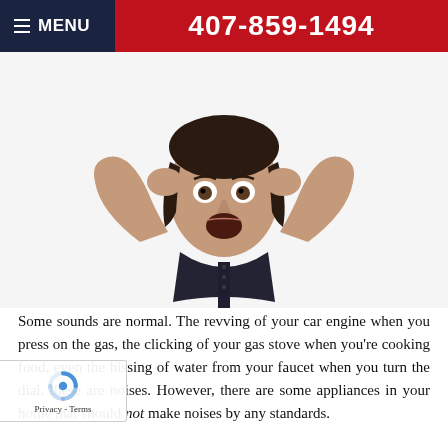☰ MENU   407-859-1494
[Figure (photo): Woman with dark hair covering her ears with both hands, mouth open in shock/distress, wearing a dark button-up shirt, white background]
Some sounds are normal. The revving of your car engine when you press on the gas, the clicking of your gas stove when you're cooking food, even the hissing of water from your faucet when you turn the dial, these are noises. However, there are some appliances in your home that should not make noises by any standards. Your furnace is one of those appliances.